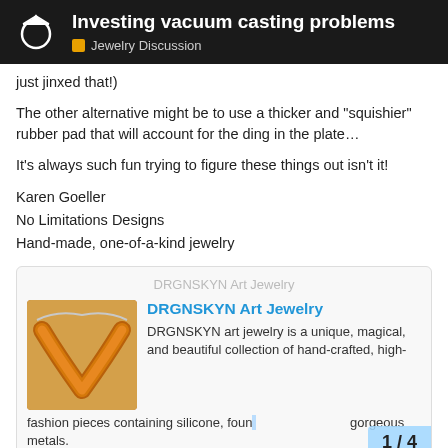Investing vacuum casting problems — Jewelry Discussion
just jinxed that!)
The other alternative might be to use a thicker and "squishier" rubber pad that will account for the ding in the plate…
It's always such fun trying to figure these things out isn't it!
Karen Goeller
No Limitations Designs
Hand-made, one-of-a-kind jewelry
DRGNSKYN Art Jewelry
[Figure (photo): Photo of orange/amber colored V-shaped necklace/jewelry piece]
DRGNSKYN Art Jewelry
DRGNSKYN art jewelry is a unique, magical, and beautiful collection of hand-crafted, high-fashion pieces containing silicone, foun… gorgeous metals
1 / 4